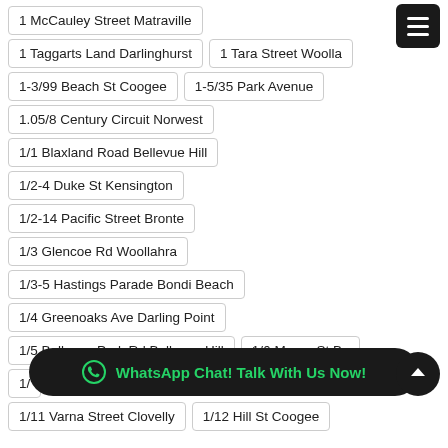1 McCauley Street Matraville
1 Taggarts Land Darlinghurst
1 Tara Street Woollo…
1-3/99 Beach St Coogee
1-5/35 Park Avenue
1.05/8 Century Circuit Norwest
1/1 Blaxland Road Bellevue Hill
1/2-4 Duke St Kensington
1/2-14 Pacific Street Bronte
1/3 Glencoe Rd Woollahra
1/3-5 Hastings Parade Bondi Beach
1/4 Greenoaks Ave Darling Point
1/5 Bellevue Park Rd Bellevue Hill
1/6 Moore St Bo…
1/…
1/11 Varna Street Clovelly
1/12 Hill St Coogee
[Figure (screenshot): WhatsApp Chat! Talk With Us Now! banner at bottom of page]